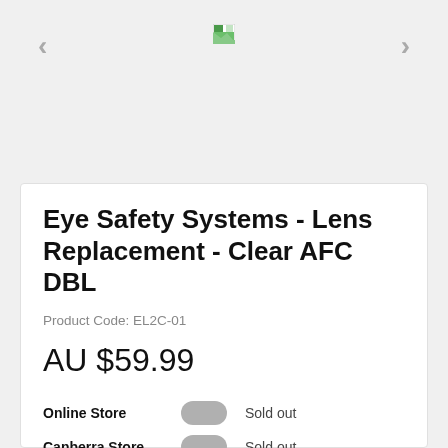[Figure (photo): Product image area with broken/loading image thumbnail, flanked by left and right navigation arrows]
Eye Safety Systems - Lens Replacement - Clear AFC DBL
Product Code: EL2C-01
AU $59.99
Online Store   Sold out
Canberra Store   Sold out